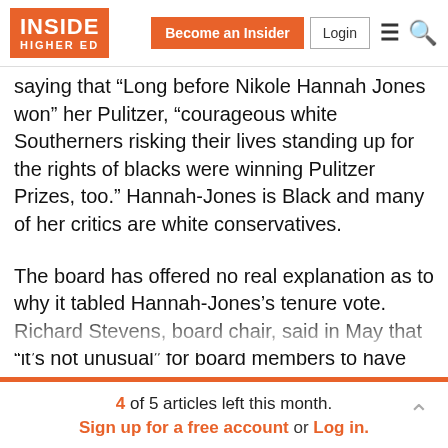Inside Higher Ed — Become an Insider | Login
saying that “Long before Nikole Hannah Jones won” her Pulitzer, “courageous white Southerners risking their lives standing up for the rights of blacks were winning Pulitzer Prizes, too.” Hannah-Jones is Black and many of her critics are white conservatives.
The board has offered no real explanation as to why it tabled Hannah-Jones’s tenure vote. Richard Stevens, board chair, said in May that “it’s not unusual” for board members to have questions about candidates’ backgrounds, “particularly candidates that don’t come from a traditional, academic-type background.” Yet that
4 of 5 articles left this month. Sign up for a free account or Log in.